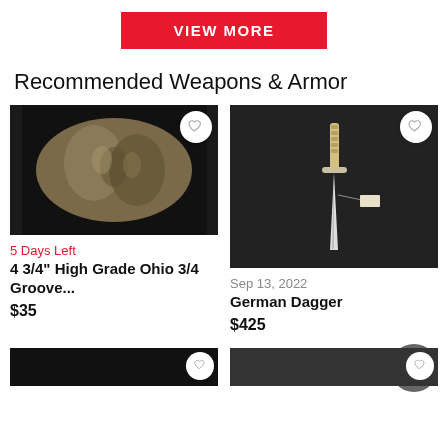[Figure (screenshot): Red 'VIEW MORE' button centered at top]
Recommended Weapons & Armor
[Figure (photo): A stone artifact (4 3/4" High Grade Ohio 3/4 Groove) on black background]
[Figure (photo): A German Dagger on dark background with price tag]
5 Days Left
4 3/4" High Grade Ohio 3/4 Groove...
$35
Sep 13, 2022
German Dagger
$425